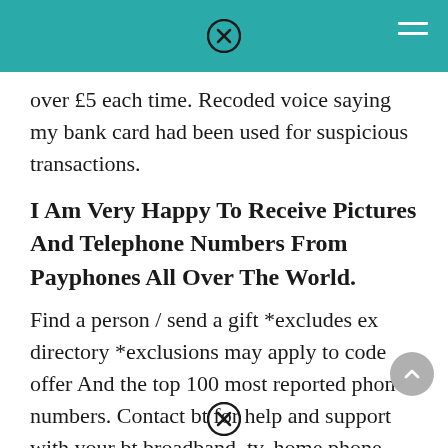over £5 each time. Recoded voice saying my bank card had been used for suspicious transactions.
I Am Very Happy To Receive Pictures And Telephone Numbers From Payphones All Over The World.
Find a person / send a gift *excludes ex directory *exclusions may apply to code offer And the top 100 most reported phone numbers. Contact bt for help and support with your bt broadband, tv, home phone or mobile.